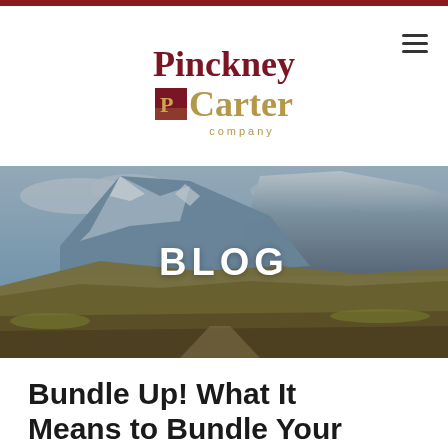[Figure (logo): Pinckney Carter company logo with burgundy and gold serif text and a small square icon]
[Figure (photo): Mountain landscape hero image with blue-gray peaks, golden hillside trail, and cloudy sky, with white bold text 'BLOG' centered]
Bundle Up! What It Means to Bundle Your Insurance Policies